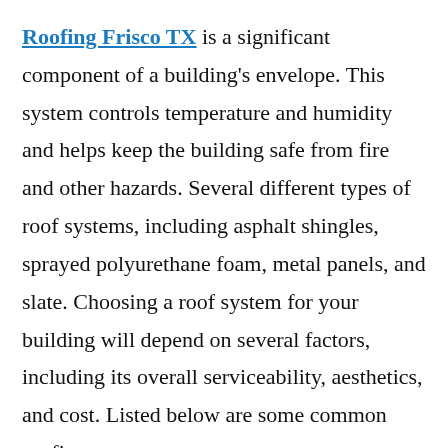Roofing Frisco TX is a significant component of a building's envelope. This system controls temperature and humidity and helps keep the building safe from fire and other hazards. Several different types of roof systems, including asphalt shingles, sprayed polyurethane foam, metal panels, and slate. Choosing a roof system for your building will depend on several factors, including its overall serviceability, aesthetics, and cost. Listed below are some common roofing